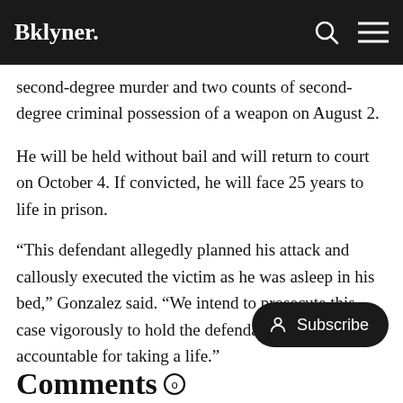Bklyner.
second-degree murder and two counts of second-degree criminal possession of a weapon on August 2.
He will be held without bail and will return to court on October 4. If convicted, he will face 25 years to life in prison.
“This defendant allegedly planned his attack and callously executed the victim as he was asleep in his bed,” Gonzalez said. “We intend to prosecute this case vigorously to hold the defendant fully accountable for taking a life.”
Comments